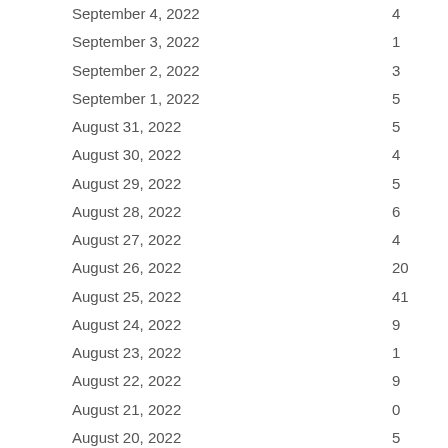| Date | Value |
| --- | --- |
| September 4, 2022 | 4 |
| September 3, 2022 | 1 |
| September 2, 2022 | 3 |
| September 1, 2022 | 5 |
| August 31, 2022 | 5 |
| August 30, 2022 | 4 |
| August 29, 2022 | 5 |
| August 28, 2022 | 6 |
| August 27, 2022 | 4 |
| August 26, 2022 | 20 |
| August 25, 2022 | 41 |
| August 24, 2022 | 9 |
| August 23, 2022 | 1 |
| August 22, 2022 | 9 |
| August 21, 2022 | 0 |
| August 20, 2022 | 5 |
| August 19, 2022 | 4 |
| August 18, 2022 | 2 |
| August 17, 2022 | 7 |
| August 16, 2022 | 6 |
| August 15, 2022 | 7 |
| August 14, 2022 | 4 |
| August 13, 2022 | 5 |
| August 12, 2022 | 5 |